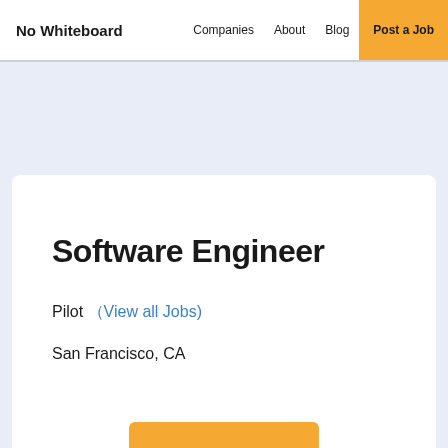No Whiteboard   Companies   About   Blog   Post a Job
Software Engineer
Pilot (View all Jobs)
San Francisco, CA